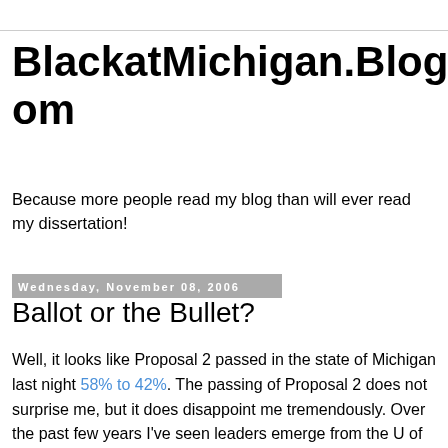BlackatMichigan.Blogspot.com
Because more people read my blog than will ever read my dissertation!
Wednesday, November 08, 2006
Ballot or the Bullet?
Well, it looks like Proposal 2 passed in the state of Michigan last night 58% to 42%. The passing of Proposal 2 does not surprise me, but it does disappoint me tremendously. Over the past few years I've seen leaders emerge from the U of M community and beyond to fight this measure. While it passed, I want to take this time to thank everyone who put their time, heart, and souls into stopping this thing. To you all I remind you, that your work will never be cancelled or distilled by this measure. You have served to heighten